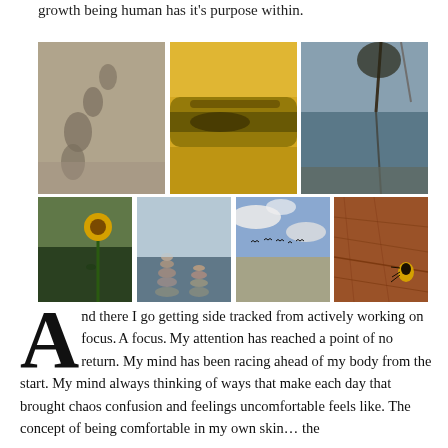growth being human has it's purpose within.
[Figure (photo): Grid of 7 nature photographs: footprints in sand/mud, mossy wooden log close-up, tree reflected in water with rocks, sunflower in field, balanced stone cairns by water, birds flying in cloudy sky, beetle on textured brown surface.]
And there I go getting side tracked from actively working on focus. A focus. My attention has reached a point of no return. My mind has been racing ahead of my body from the start. My mind always thinking of ways that make each day that brought chaos confusion and feelings uncomfortable feels like. The concept of being comfortable in my own skin... the